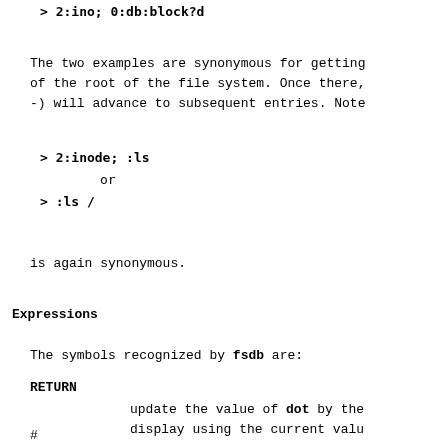> 2:ino; 0:db:block?d
The two examples are synonymous for getting of the root of the file system. Once there, -) will advance to subsequent entries. Note
> 2:inode; :ls
     or
> :ls /
is again synonymous.
Expressions
The symbols recognized by fsdb are:
RETURN
update the value of dot by the display using the current valu
#
numeric expressions may be com operators (evaluated left to r